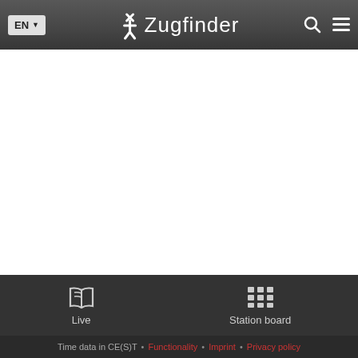EN  Zugfinder
[Figure (screenshot): White empty main content area of the Zugfinder web application]
Live  Station board  Time data in CE(S)T • Functionality • Imprint • Privacy policy